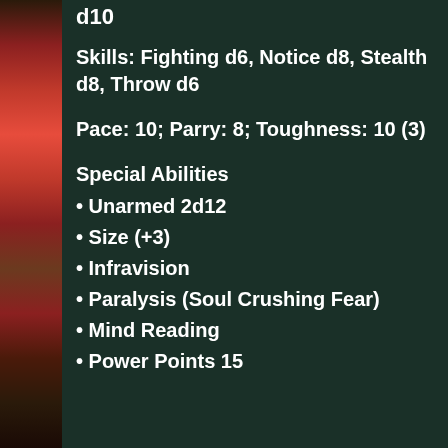[Figure (illustration): Colorful fantasy creature illustration on the left side of the page]
d10
Skills: Fighting d6, Notice d8, Stealth d8, Throw d6
Pace: 10; Parry: 8; Toughness: 10 (3)
Special Abilities
• Unarmed 2d12
• Size (+3)
• Infravision
• Paralysis (Soul Crushing Fear)
• Mind Reading
• Power Points 15